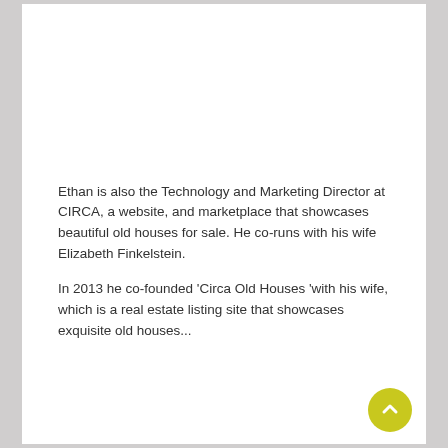Ethan is also the Technology and Marketing Director at CIRCA, a website, and marketplace that showcases beautiful old houses for sale. He co-runs with his wife Elizabeth Finkelstein.
In 2013 he co-founded 'Circa Old Houses 'with his wife, which is a real estate listing site that showcases exquisite old houses...